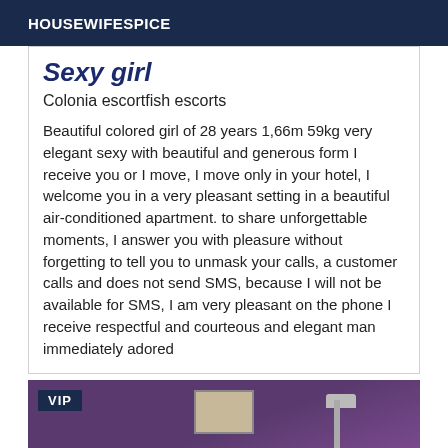HOUSEWIFESPICE
Sexy girl
Colonia escortfish escorts
Beautiful colored girl of 28 years 1,66m 59kg very elegant sexy with beautiful and generous form I receive you or I move, I move only in your hotel, I welcome you in a very pleasant setting in a beautiful air-conditioned apartment. to share unforgettable moments, I answer you with pleasure without forgetting to tell you to unmask your calls, a customer calls and does not send SMS, because I will not be available for SMS, I am very pleasant on the phone I receive respectful and courteous and elegant man immediately adored
[Figure (photo): VIP tagged photo showing a room with purple walls, a framed picture on the wall, a lamp, and a person with brown hair visible at the bottom.]